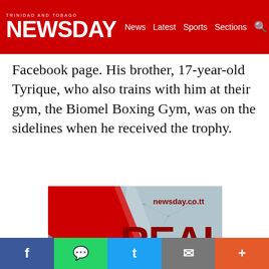TRINIDAD AND TOBAGO NEWSDAY — News Latest Sports Sections
Facebook page. His brother, 17-year-old Tyrique, who also trains with him at their gym, the Biomel Boxing Gym, was on the sidelines when he received the trophy.
[Figure (illustration): Newsday advertisement banner with text 'newsday.co.tt', 'REAL News...' on a red and grey geometric background with network/technology imagery]
Social share buttons: Facebook, WhatsApp, Twitter, Email, More